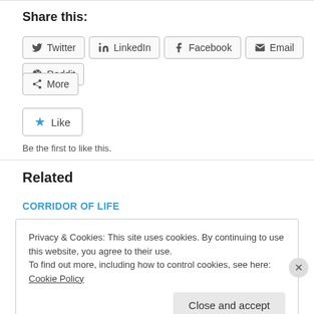Share this:
Twitter | LinkedIn | Facebook | Email | Reddit | More
[Figure (other): Like button with star icon]
Be the first to like this.
Related
CORRIDOR OF LIFE
Privacy & Cookies: This site uses cookies. By continuing to use this website, you agree to their use. To find out more, including how to control cookies, see here: Cookie Policy
Close and accept